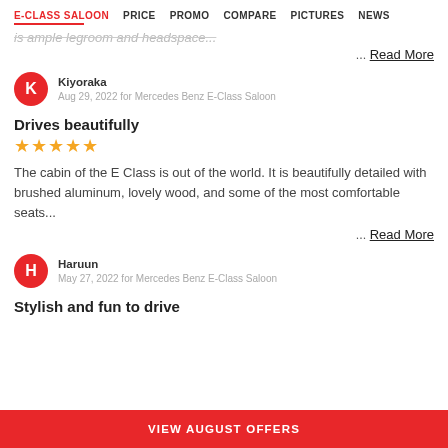E-CLASS SALOON   PRICE   PROMO   COMPARE   PICTURES   NEWS
is ample legroom and headspace...
... Read More
Kiyoraka
Aug 29, 2022 for Mercedes Benz E-Class Saloon
Drives beautifully
★★★★★
The cabin of the E Class is out of the world. It is beautifully detailed with brushed aluminum, lovely wood, and some of the most comfortable seats...
... Read More
Haruun
May 27, 2022 for Mercedes Benz E-Class Saloon
Stylish and fun to drive
VIEW AUGUST OFFERS